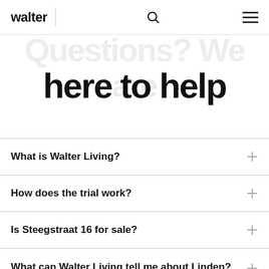walter  [search icon]  [menu icon]
here to help
What is Walter Living?
How does the trial work?
Is Steegstraat 16 for sale?
What can Walter Living tell me about Linden?